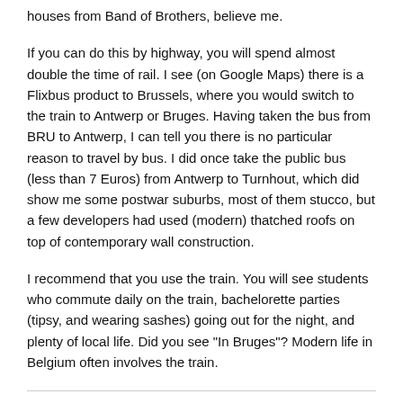houses from Band of Brothers, believe me.
If you can do this by highway, you will spend almost double the time of rail. I see (on Google Maps) there is a Flixbus product to Brussels, where you would switch to the train to Antwerp or Bruges. Having taken the bus from BRU to Antwerp, I can tell you there is no particular reason to travel by bus. I did once take the public bus (less than 7 Euros) from Antwerp to Turnhout, which did show me some postwar suburbs, most of them stucco, but a few developers had used (modern) thatched roofs on top of contemporary wall construction.
I recommend that you use the train. You will see students who commute daily on the train, bachelorette parties (tipsy, and wearing sashes) going out for the night, and plenty of local life. Did you see "In Bruges"? Modern life in Belgium often involves the train.
Posted by Kathy